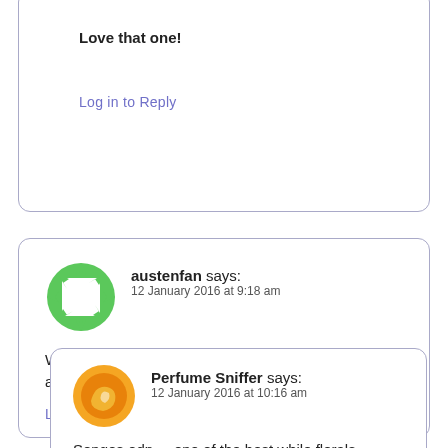Love that one!
Log in to Reply
austenfan says:
12 January 2016 at 9:18 am
Wearing Songes (edp). Still haven't made up my mind about which Bvlgari I want to wear on Friday.
Log in to Reply
Perfume Sniffer says:
12 January 2016 at 10:16 am
Songes edp.....one of the best while florals